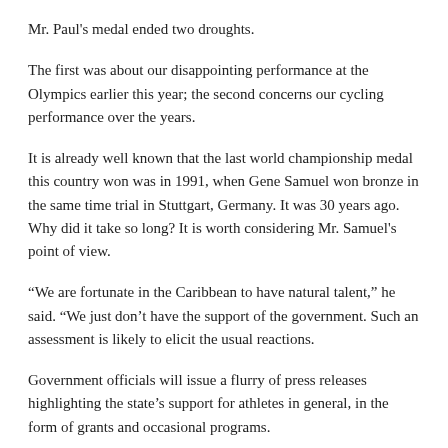Mr. Paul's medal ended two droughts.
The first was about our disappointing performance at the Olympics earlier this year; the second concerns our cycling performance over the years.
It is already well known that the last world championship medal this country won was in 1991, when Gene Samuel won bronze in the same time trial in Stuttgart, Germany. It was 30 years ago. Why did it take so long? It is worth considering Mr. Samuel's point of view.
“We are fortunate in the Caribbean to have natural talent,” he said. “We just don’t have the support of the government. Such an assessment is likely to elicit the usual reactions.
Government officials will issue a flurry of press releases highlighting the state’s support for athletes in general, in the form of grants and occasional programs.